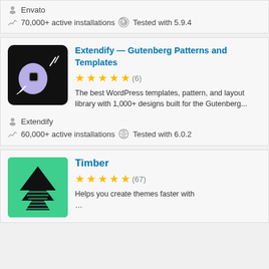Envato
70,000+ active installations  Tested with 5.9.4
[Figure (logo): Extendify plugin logo — black rounded square with purple/lavender ghost shape inside]
Extendify — Gutenberg Patterns and Templates
★★★★★ (6)
The best WordPress templates, pattern, and layout library with 1,000+ designs built for the Gutenberg...
Extendify
60,000+ active installations  Tested with 6.0.2
[Figure (logo): Timber plugin logo — teal/mint green background with black tree (pine) icon]
Timber
★★★★★ (67)
Helps you create themes faster with...